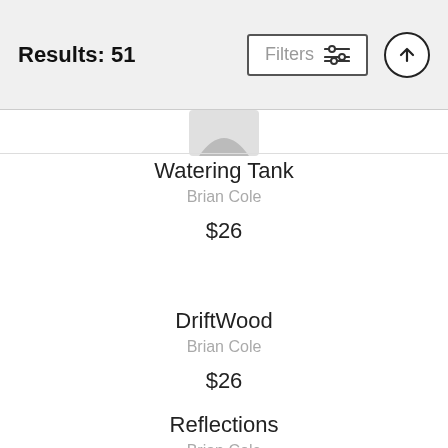Results: 51
Watering Tank
Brian Cole
$26
DriftWood
Brian Cole
$26
Reflections
Brian Cole